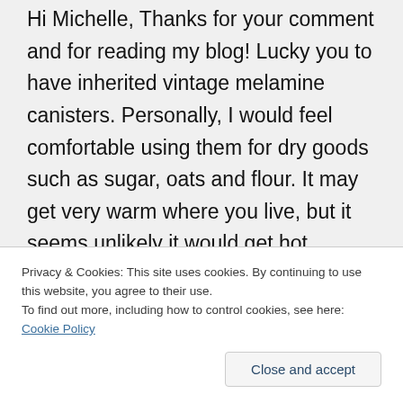Hi Michelle, Thanks for your comment and for reading my blog! Lucky you to have inherited vintage melamine canisters. Personally, I would feel comfortable using them for dry goods such as sugar, oats and flour. It may get very warm where you live, but it seems unlikely it would get hot enough to effect chemical changes/reactions. If you want to play it extra safe, you could use them for storing packaged items, such as individually-
Privacy & Cookies: This site uses cookies. By continuing to use this website, you agree to their use.
To find out more, including how to control cookies, see here: Cookie Policy